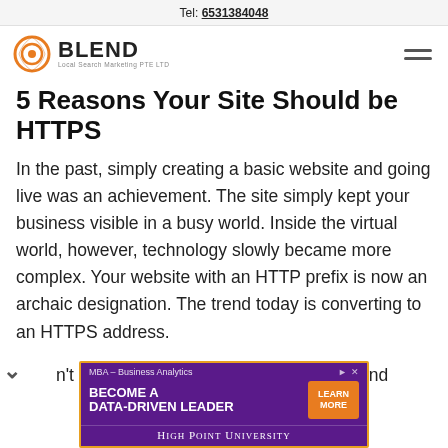Tel: 6531384048
[Figure (logo): Blend Local Search Marketing PTE LTD logo with orange circular target icon]
5 Reasons Your Site Should be HTTPS
In the past, simply creating a basic website and going live was an achievement. The site simply kept your business visible in a busy world. Inside the virtual world, however, technology slowly became more complex. Your website with an HTTP prefix is now an archaic designation. The trend today is converting to an HTTPS address.
n't hesitate to take on this technology trend
[Figure (screenshot): Advertisement banner for High Point University MBA Business Analytics program: BECOME A DATA-DRIVEN LEADER with orange LEARN MORE button]